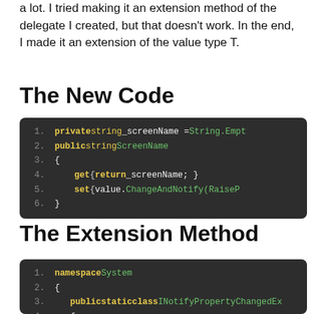a lot. I tried making it an extension method of the delegate I created, but that doesn't work. In the end, I made it an extension of the value type T.
The New Code
[Figure (screenshot): Code block showing C# property with ScreenName using ChangeAndNotify extension method. Lines 1-6 showing private string _screenName = String.Empty, public string ScreenName, { get { return _screenName; } set { value.ChangeAndNotify(RaiseP... }]
The Extension Method
[Figure (screenshot): Code block showing C# extension method. Lines 1-4: namespace System, {, public static class INotifyPropertyChangedEx..., {]